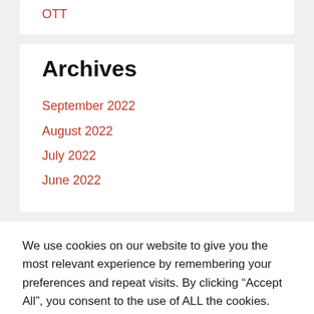OTT
Archives
September 2022
August 2022
July 2022
June 2022
We use cookies on our website to give you the most relevant experience by remembering your preferences and repeat visits. By clicking “Accept All”, you consent to the use of ALL the cookies. However, you may visit "Cookie Settings" to provide a controlled consent.